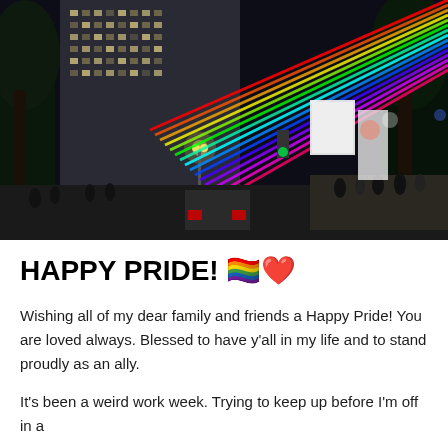[Figure (photo): Nighttime city street scene with colorful rainbow laser light beams streaking diagonally across the sky above a tall building. Street is lined with trees, people walking on sidewalks, a car with red brake lights visible. City lights and neon signs in background.]
HAPPY PRIDE! 🏳️‍🌈❤️
Wishing all of my dear family and friends a Happy Pride! You are loved always. Blessed to have y'all in my life and to stand proudly as an ally.
It's been a weird work week. Trying to keep up before I'm off in a